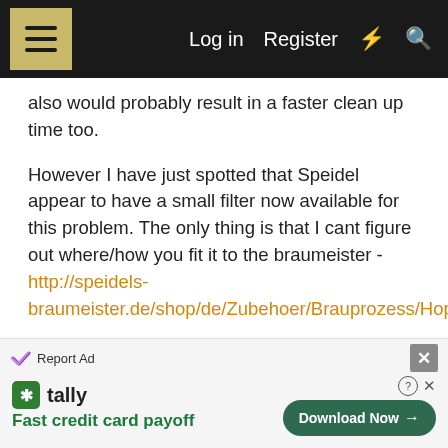Log in  Register
also would probably result in a faster clean up time too.
However I have just spotted that Speidel appear to have a small filter now available for this problem. The only thing is that I cant figure out where/how you fit it to the braumeister - http://speidels-braumeister.de/shop/de/Zubehoer/Brauprozess/Hopfensieb
Does anybody else have one? Or perhaps it is just a container for the hops? Unfortunately the website has no further information on this.
[Figure (screenshot): Advertisement banner: Tally app - Fast credit card payoff with Download Now button]